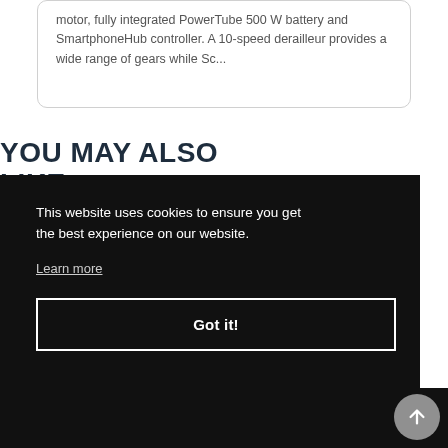motor, fully integrated PowerTube 500 W battery and SmartphoneHub controller. A 10-speed derailleur provides a wide range of gears while Sc...
YOU MAY ALSO LIKE
This website uses cookies to ensure you get the best experience on our website. Learn more
Got it!